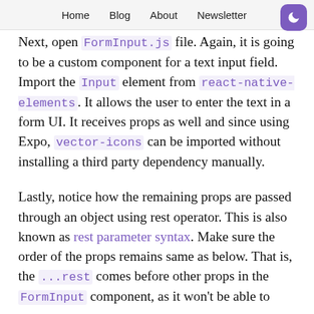Home  Blog  About  Newsletter
Next, open FormInput.js file. Again, it is going to be a custom component for a text input field. Import the Input element from react-native-elements. It allows the user to enter the text in a form UI. It receives props as well and since using Expo, vector-icons can be imported without installing a third party dependency manually.
Lastly, notice how the remaining props are passed through an object using rest operator. This is also known as rest parameter syntax. Make sure the order of the props remains same as below. That is, the ...rest comes before other props in the FormInput component, as it won't be able to